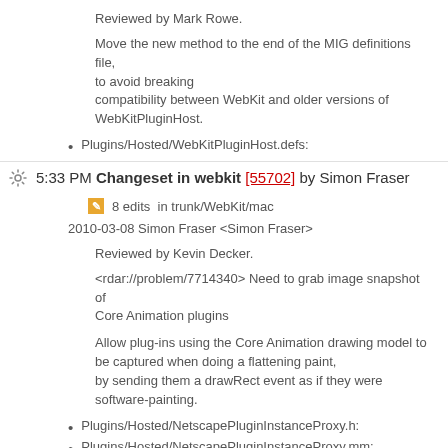Reviewed by Mark Rowe.
Move the new method to the end of the MIG definitions file, to avoid breaking compatibility between WebKit and older versions of WebKitPluginHost.
Plugins/Hosted/WebKitPluginHost.defs:
5:33 PM Changeset in webkit [55702] by Simon Fraser
8 edits in trunk/WebKit/mac
2010-03-08 Simon Fraser <Simon Fraser>
Reviewed by Kevin Decker.
<rdar://problem/7714340> Need to grab image snapshot of Core Animation plugins
Allow plug-ins using the Core Animation drawing model to be captured when doing a flattening paint, by sending them a drawRect event as if they were software-painting.
Plugins/Hosted/NetscapePluginInstanceProxy.h:
Plugins/Hosted/NetscapePluginInstanceProxy.mm:
(WebKit::NetscapePluginInstanceProxy::snapshot): New snapshot() method that calls over to the plugin host, and then draws the image that comes back.